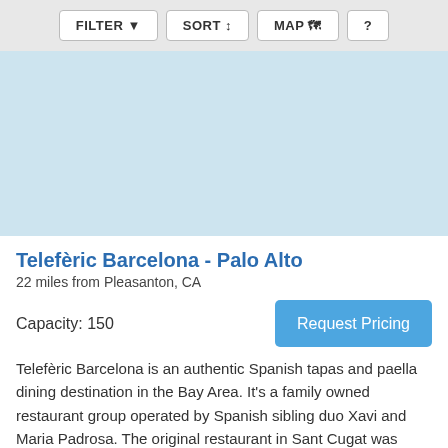[Figure (screenshot): Toolbar with FILTER, SORT, MAP, and ? buttons on a light grey background]
[Figure (map): Light blue map area placeholder]
Telefèric Barcelona - Palo Alto
22 miles from Pleasanton, CA
Capacity: 150
Request Pricing
Telefèric Barcelona is an authentic Spanish tapas and paella dining destination in the Bay Area. It's a family owned restaurant group operated by Spanish sibling duo Xavi and Maria Padrosa. The original restaurant in Sant Cugat was